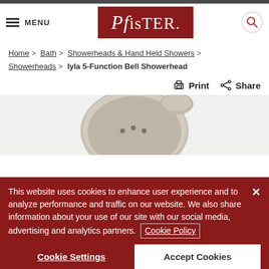Pfister
≡ MENU
Home > Bath > Showerheads & Hand Held Showers > Showerheads > Iyla 5-Function Bell Showerhead
Print   Share
[Figure (photo): Partial view of Iyla 5-Function Bell Showerhead in brushed nickel finish on light gray background]
This website uses cookies to enhance user experience and to analyze performance and traffic on our website. We also share information about your use of our site with our social media, advertising and analytics partners. Cookie Policy
Cookie Settings   Accept Cookies